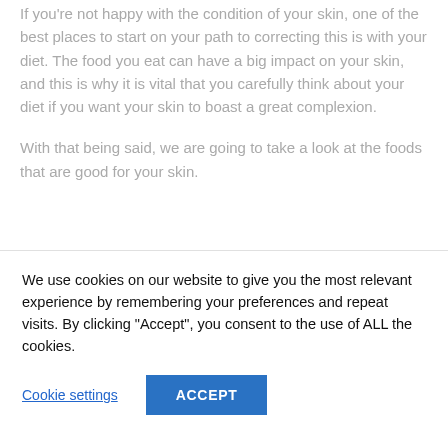If you're not happy with the condition of your skin, one of the best places to start on your path to correcting this is with your diet. The food you eat can have a big impact on your skin, and this is why it is vital that you carefully think about your diet if you want your skin to boast a great complexion.
With that being said, we are going to take a look at the foods that are good for your skin.
[Figure (photo): Overhead photograph of a white bowl or cup surrounded by dried herbs, leaves and botanicals on a light surface.]
We use cookies on our website to give you the most relevant experience by remembering your preferences and repeat visits. By clicking “Accept”, you consent to the use of ALL the cookies.
Cookie settings   ACCEPT